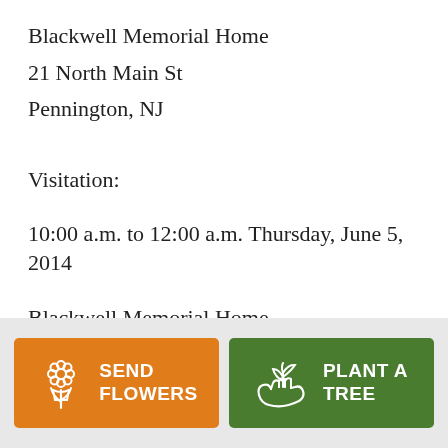Blackwell Memorial Home
21 North Main St
Pennington, NJ
Visitation:
10:00 a.m. to 12:00 a.m. Thursday, June 5, 2014
Blackwell Memorial Home
[Figure (infographic): Two action buttons in a gray footer bar: orange 'SEND FLOWERS' button with flower bouquet icon, and green 'PLANT A TREE' button with hand-and-plant icon.]